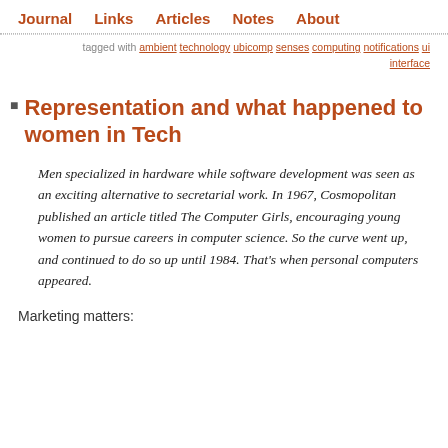Journal   Links   Articles   Notes   About
tagged with ambient technology ubicomp senses computing notifications ui interface
Representation and what happened to women in Tech
Men specialized in hardware while software development was seen as an exciting alternative to secretarial work. In 1967, Cosmopolitan published an article titled The Computer Girls, encouraging young women to pursue careers in computer science. So the curve went up, and continued to do so up until 1984. That's when personal computers appeared.
Marketing matters: